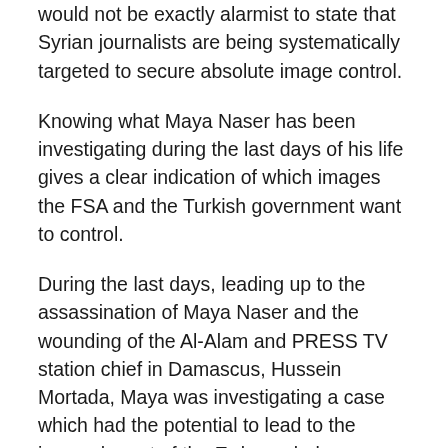would not be exactly alarmist to state that Syrian journalists are being systematically targeted to secure absolute image control.
Knowing what Maya Naser has been investigating during the last days of his life gives a clear indication of which images the FSA and the Turkish government want to control.
During the last days, leading up to the assassination of Maya Naser and the wounding of the Al-Alam and PRESS TV station chief in Damascus, Hussein Mortada, Maya was investigating a case which had the potential to lead to the impeachment of the Erdogan led government of Turkey and indictments for serious war crimes and human rights violations.
Earlier this month the Workers´Party – Turkey filed